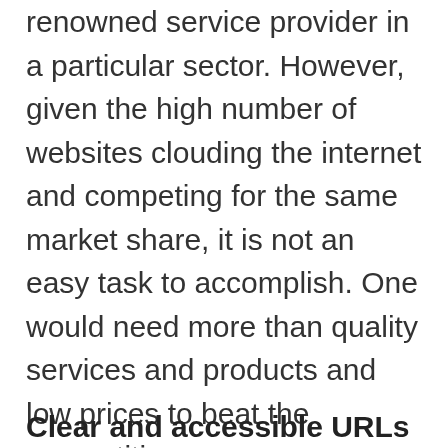renowned service provider in a particular sector. However, given the high number of websites clouding the internet and competing for the same market share, it is not an easy task to accomplish. One would need more than quality services and products and low prices to beat the competition.
If you have thought about SEO, then you are on the right track. SEO can skyrocket your traffic flow and significantly boost your visibility as a brand if correctly done. To achieve these goals, you will need to rank on top of Google, and in that case, here are the top SEO factors you will need:
Clear and accessible URLs